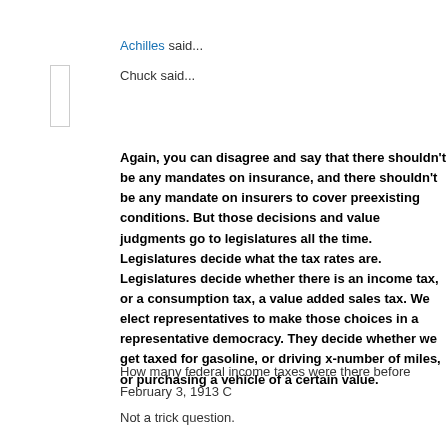Achilles said...
Chuck said...
Again, you can disagree and say that there shouldn't be any mandate on insurance, and there shouldn't be any mandate on insurers to cover preexisting conditions. But those decisions and value judgments go to legislatures all the time. Legislatures decide what the tax rates are. Legislatures decide whether there is an income tax, or a consumption tax, a value added sales tax. We elect representatives to make those choices in a representative democracy. They decide whether we get taxed for gasoline, or driving x-number of miles, or purchasing a vehicle of a certain value.
How many federal income taxes were there before February 3, 1913 C
Not a trick question.